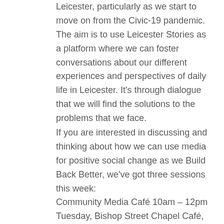Leicester, particularly as we start to move on from the Civic-19 pandemic. The aim is to use Leicester Stories as a platform where we can foster conversations about our different experiences and perspectives of daily life in Leicester. It's through dialogue that we will find the solutions to the problems that we face.
If you are interested in discussing and thinking about how we can use media for positive social change as we Build Back Better, we've got three sessions this week:
Community Media Café 10am – 12pm Tuesday, Bishop Street Chapel Café, Leicester. This is our weekly drop-in café session, and a chance to chat with other people who are interested in using DIY media to support positive change in their